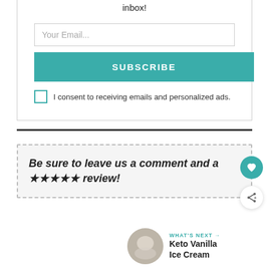inbox!
[Figure (screenshot): Email input field with placeholder 'Your Email...']
SUBSCRIBE
I consent to receiving emails and personalized ads.
Be sure to leave us a comment and a ★★★★★ review!
WHAT'S NEXT → Keto Vanilla Ice Cream